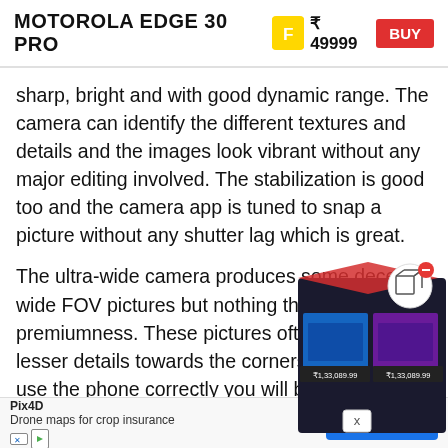MOTOROLA EDGE 30 PRO  ₹ 49999  BUY
sharp, bright and with good dynamic range. The camera can identify the different textures and details and the images look vibrant without any major editing involved. The stabilization is good too and the camera app is tuned to snap a picture without any shutter lag which is great.
The ultra-wide camera produces some decent wide FOV pictures but nothing that validates its premiumness. These pictures often end up with lesser details towards the corners and if you use the phone correctly you will be able to negate the barrel tend to be b isn't in
[Figure (photo): Floating product box advertisement showing laptops/products with prices ₹1,33,089.99 and a close button (X), and a 3D cube icon with red minus button overlay]
[Figure (other): Advertisement banner: Pix4D - Drone maps for crop insurance - DOWNLOAD button in blue]